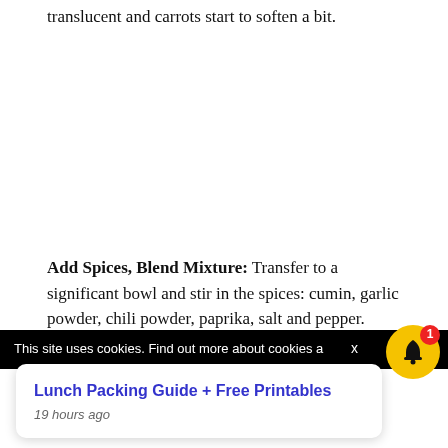translucent and carrots start to soften a bit.
Add Spices, Blend Mixture: Transfer to a significant bowl and stir in the spices: cumin, garlic powder, chili powder, paprika, salt and pepper. Using a meals processor, higher powered blender, or potato
This site uses cookies. Find out more about cookies a
Lunch Packing Guide + Free Printables
19 hours ago
and pepper if essential.